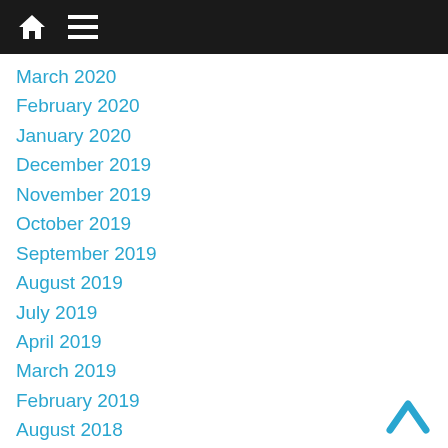Navigation bar with home and menu icons
March 2020
February 2020
January 2020
December 2019
November 2019
October 2019
September 2019
August 2019
July 2019
April 2019
March 2019
February 2019
August 2018
July 2018
June 2018
May 2018